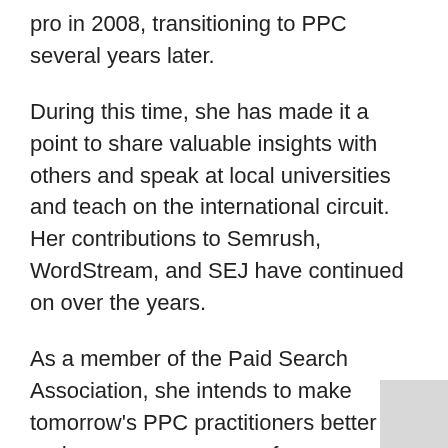pro in 2008, transitioning to PPC several years later.
During this time, she has made it a point to share valuable insights with others and speak at local universities and teach on the international circuit. Her contributions to Semrush, WordStream, and SEJ have continued on over the years.
As a member of the Paid Search Association, she intends to make tomorrow's PPC practitioners better and serve as a resource for anyone looking to learn more.
Hopkins will answer your most pressing questions on PPC this year on the Search Engine Journal Show at 3 p.m. ET on March